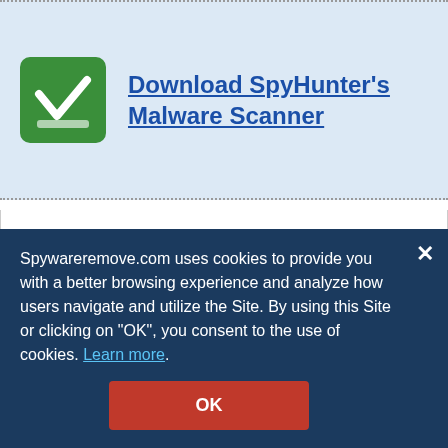[Figure (logo): SpyHunter green checkmark logo — a white V/checkmark and tray icon on a green rounded-rectangle background]
Download SpyHunter's Malware Scanner
Note: SpyHunter's free version is only for malware detection. If SpyHunter detects malware on your PC, you will need to purchase SpyHunter's malware tool to remove the malware threats. Learn more on SpyHunter. If you would like to uninstall SpyHunter for any reason, please follow these uninstall
Spywareremove.com uses cookies to provide you with a better browsing experience and analyze how users navigate and utilize the Site. By using this Site or clicking on "OK", you consent to the use of cookies. Learn more.